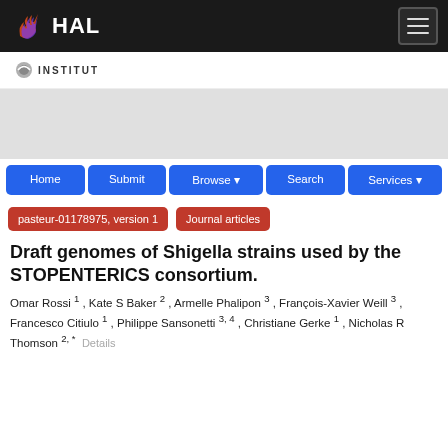HAL
[Figure (logo): Institut Pasteur logo with text INSTITUT]
Home | Submit | Browse | Search | Services
pasteur-01178975, version 1 | Journal articles
Draft genomes of Shigella strains used by the STOPENTERICS consortium.
Omar Rossi 1 , Kate S Baker 2 , Armelle Phalipon 3 , François-Xavier Weill 3 , Francesco Citiulo 1 , Philippe Sansonetti 3, 4 , Christiane Gerke 1 , Nicholas R Thomson 2, * Details